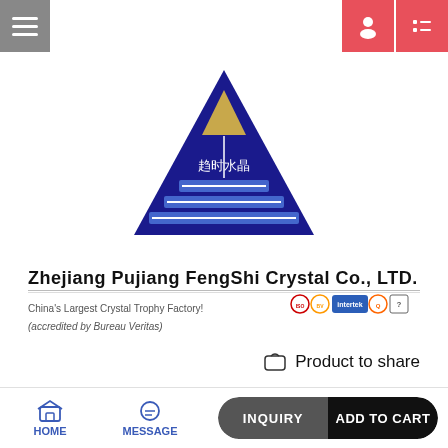[Figure (logo): Navigation bar with hamburger menu icon on left and user/list icons on right with salmon/red background]
[Figure (logo): Zhejiang Pujiang FengShi Crystal Co., LTD. logo — dark blue triangle pyramid shape with Chinese text and gold inner triangle]
Zhejiang Pujiang FengShi Crystal Co., LTD.
China's Largest Crystal Trophy Factory! (accredited by Bureau Veritas)
[Figure (logo): Certification logos: ISO, Bureau Veritas, Intertek, and other quality badges]
Product to share
[Figure (photo): Gray banner with small blue pyramid logo on left and crystal ball/globe in center on gray background]
HOME
MESSAGE
INQUIRY
ADD TO CART